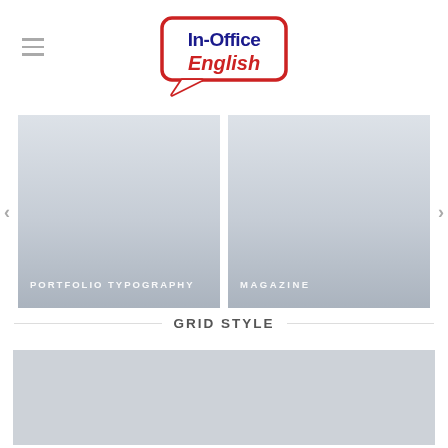[Figure (logo): In-Office English logo with speech bubble, blue and red text]
[Figure (illustration): Carousel item labeled PORTFOLIO TYPOGRAPHY, gradient gray background]
[Figure (illustration): Carousel item labeled MAGAZINE, gradient gray background]
GRID STYLE
[Figure (photo): Large gray placeholder image below Grid Style section header]